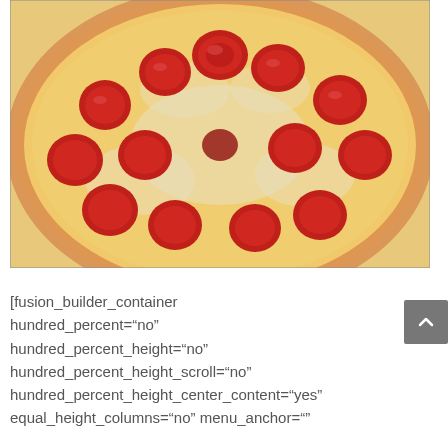[Figure (photo): Close-up photograph of a pepperoni pizza with melted cheese in a cardboard box, shot from above at a slight angle.]
[fusion_builder_container hundred_percent="no" hundred_percent_height="no" hundred_percent_height_scroll="no" hundred_percent_height_center_content="yes" equal_height_columns="no" menu_anchor=""